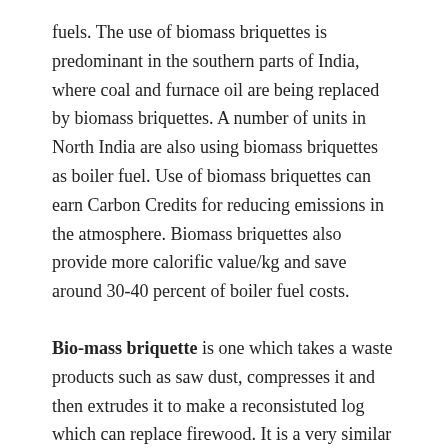fuels. The use of biomass briquettes is predominant in the southern parts of India, where coal and furnace oil are being replaced by biomass briquettes. A number of units in North India are also using biomass briquettes as boiler fuel. Use of biomass briquettes can earn Carbon Credits for reducing emissions in the atmosphere. Biomass briquettes also provide more calorific value/kg and save around 30-40 percent of boiler fuel costs.
Bio-mass briquette is one which takes a waste products such as saw dust, compresses it and then extrudes it to make a reconsistuted log which can replace firewood. It is a very similar process to forming a wood pellet but on a larger scale. There are no binders involved in this process. The natural lignin in the wood binds the particles of wood together to form a solid. Burning a